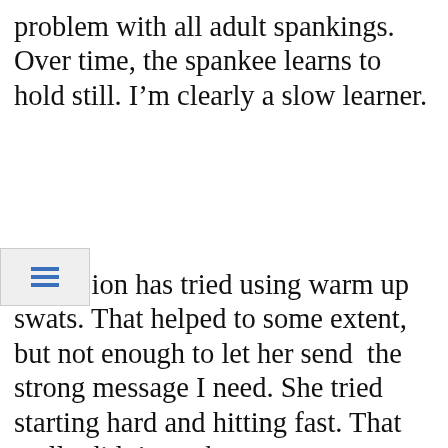problem with all adult spankings. Over time, the spankee learns to hold still. I'm clearly a slow learner.
[Figure (other): Mobile navigation hamburger menu button icon (three horizontal lines) in a light gray box]
Mrs. Lion has tried using warm up swats. That helped to some extent, but not enough to let her send  the strong message I need. She tried starting hard and hitting fast. That really didn't work.
T A a a of rolling away. If you combine that with
Privacy & Cookies: This site uses cookies. By continuing to use this website, you agree to their use.
To find out more, including how to control cookies, see here:
Cookie Policy
Close and accept